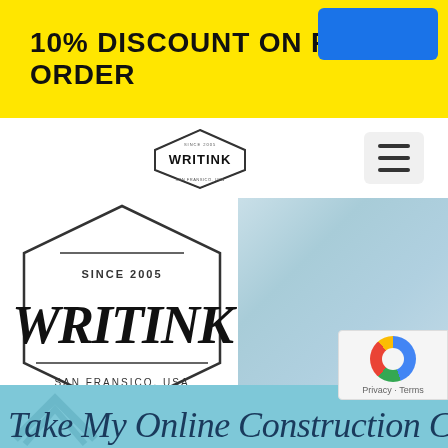10% DISCOUNT ON FIRST ORDER
[Figure (logo): WRITINK logo - small hexagonal badge in navigation bar]
[Figure (logo): WRITINK large logo with hexagonal border, 'SINCE 2005' and 'SAN FRANSICO, USA' text, brush-script WRITINK lettering]
[Figure (photo): Light blue sky photo background on right side]
Take My Online Construction C...